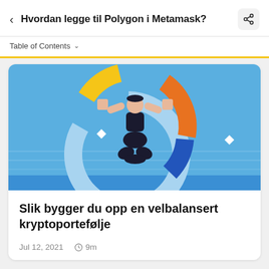Hvordan legge til Polygon i Metamask?
Table of Contents
[Figure (illustration): Illustrated graphic on a light blue background showing a stylized human figure in a meditation/balance pose surrounded by a donut-chart ring with segments in yellow/gold, orange, light blue, and dark blue, with white diamond shapes on either side]
Slik bygger du opp en velbalansert kryptoportefølje
Jul 12, 2021   🕐 9m